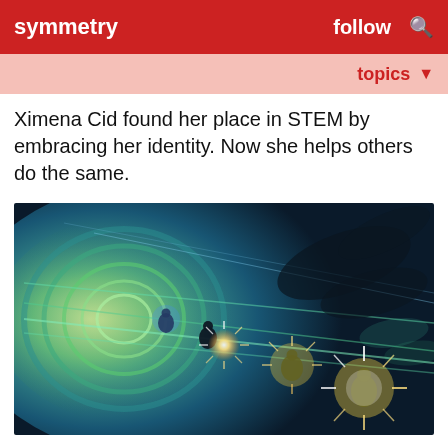symmetry   follow
topics
Ximena Cid found her place in STEM by embracing her identity. Now she helps others do the same.
[Figure (illustration): Digital illustration showing figures inside a large circular tunnel or accelerator, with glowing light beams and sparkling energy effects against a dark teal/blue background. Small silhouetted human figures are visible near glowing points of light along beam lines.]